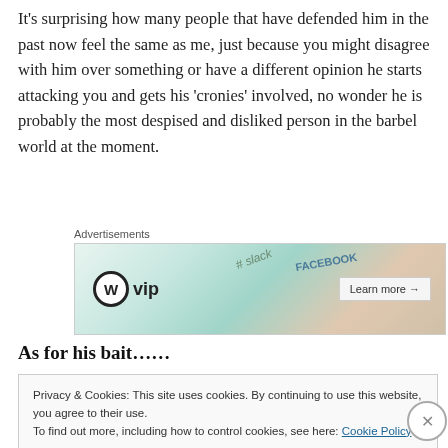It's surprising how many people that have defended him in the past now feel the same as me, just because you might disagree with him over something or have a different opinion he starts attacking you and gets his ‘cronies’ involved, no wonder he is probably the most despised and disliked person in the barbel world at the moment.
[Figure (screenshot): WordPress VIP advertisement banner with social media logos (Slack, Facebook) and a Learn more button]
As for his bait……
Privacy & Cookies: This site uses cookies. By continuing to use this website, you agree to their use.
To find out more, including how to control cookies, see here: Cookie Policy